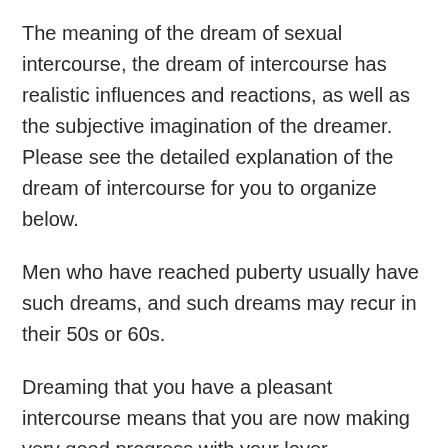The meaning of the dream of sexual intercourse, the dream of intercourse has realistic influences and reactions, as well as the subjective imagination of the dreamer. Please see the detailed explanation of the dream of intercourse for you to organize below.
Men who have reached puberty usually have such dreams, and such dreams may recur in their 50s or 60s.
Dreaming that you have a pleasant intercourse means that you are now making very good progress with your lover.
Dreaming of having sex but a normal experience indicates that the dreamer is suppressing a certain